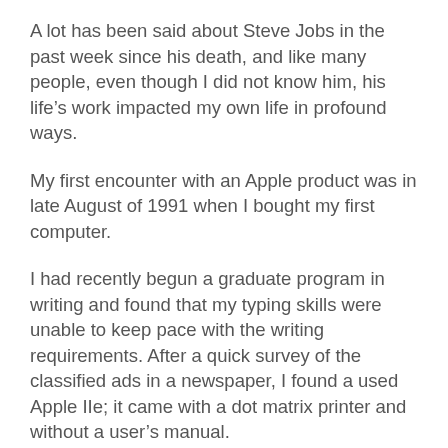A lot has been said about Steve Jobs in the past week since his death, and like many people, even though I did not know him, his life's work impacted my own life in profound ways.
My first encounter with an Apple product was in late August of 1991 when I bought my first computer.
I had recently begun a graduate program in writing and found that my typing skills were unable to keep pace with the writing requirements. After a quick survey of the classified ads in a newspaper, I found a used Apple IIe; it came with a dot matrix printer and without a user's manual.
Therein lies the beauty of Apple products: you can generally figure out how to use them without having to read an encyclopedic edition of tech docs.